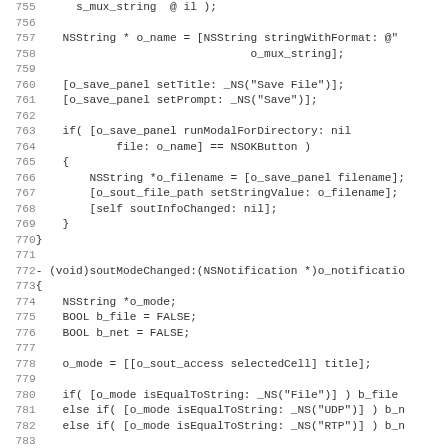Source code listing, lines 755-787, Objective-C code showing file save panel and sout mode changed method.